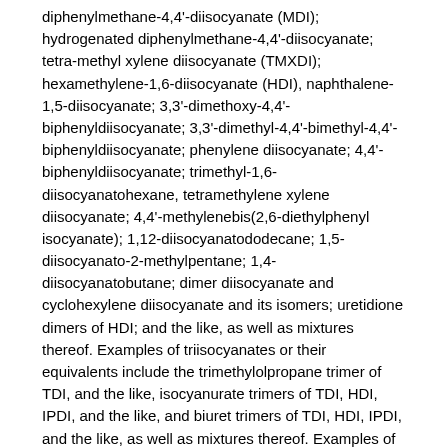diphenylmethane-4,4'-diisocyanate (MDI); hydrogenated diphenylmethane-4,4'-diisocyanate; tetra-methyl xylene diisocyanate (TMXDI); hexamethylene-1,6-diisocyanate (HDI), naphthalene-1,5-diisocyanate; 3,3'-dimethoxy-4,4'-biphenyldiisocyanate; 3,3'-dimethyl-4,4'-bimethyl-4,4'-biphenyldiisocyanate; phenylene diisocyanate; 4,4'-biphenyldiisocyanate; trimethyl-1,6-diisocyanatohexane, tetramethylene xylene diisocyanate; 4,4'-methylenebis(2,6-diethylphenyl isocyanate); 1,12-diisocyanatododecane; 1,5-diisocyanato-2-methylpentane; 1,4-diisocyanatobutane; dimer diisocyanate and cyclohexylene diisocyanate and its isomers; uretidione dimers of HDI; and the like, as well as mixtures thereof. Examples of triisocyanates or their equivalents include the trimethylolpropane trimer of TDI, and the like, isocyanurate trimers of TDI, HDI, IPDI, and the like, and biuret trimers of TDI, HDI, IPDI, and the like, as well as mixtures thereof. Examples of higher isocyanate functionalities include copolymers of TDI/HDI, and the like, and MDI oligomers, as well as mixtures thereof.
In embodiments, the wax is functionalized with one or more curable moieties, including, for example, vinyl ethers;